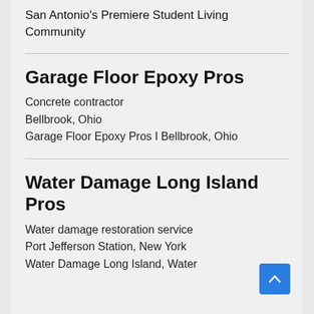San Antonio's Premiere Student Living Community
Garage Floor Epoxy Pros
Concrete contractor
Bellbrook, Ohio
Garage Floor Epoxy Pros I Bellbrook, Ohio
Water Damage Long Island Pros
Water damage restoration service
Port Jefferson Station, New York
Water Damage Long Island, Water